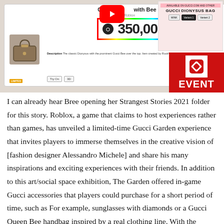[Figure (screenshot): Composite screenshot showing a Roblox item page for a Gucci Dionysus bag priced at 350,000 Robux with a Buy button, a YouTube play button overlay, and a Gucci product page on the right. Bottom right shows a red Roblox EVENT badge.]
I can already hear Bree opening her Strangest Stories 2021 folder for this story. Roblox, a game that claims to host experiences rather than games, has unveiled a limited-time Gucci Garden experience that invites players to immerse themselves in the creative vision of [fashion designer Alessandro Michele] and share his many inspirations and exciting experiences with their friends. In addition to this art/social space exhibition, The Garden offered in-game Gucci accessories that players could purchase for a short period of time, such as For example, sunglasses with diamonds or a Gucci Queen Bee handbag inspired by a real clothing line. With the second article, things went wrong: Scammers bought the Queen Bee handbag in-game for the base